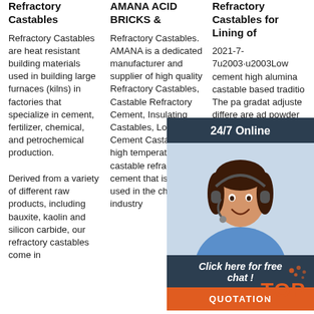Refractory Castables
Refractory Castables are heat resistant building materials used in building large furnaces (kilns) in factories that specialize in cement, fertilizer, chemical, and petrochemical production. Derived from a variety of different raw products, including bauxite, kaolin and silicon carbide, our refractory castables come in
AMANA ACID BRICKS &
Refractory Castables. AMANA is a dedicated manufacturer and supplier of high quality Refractory Castables, Castable Refractory Cement, Insulating Castables, Low Cement Castables, high temperature castable refractory cement that is widely used in the chemical industry
Refractory Castables for Lining of
2021-7-7u2003·u2003Low cement high alumina castable based tradition The particle gradation can be adjusted to meet different needs, are added, the powder replaces most of the high-alumina cement, reducing water consumption, increasing medium
[Figure (photo): Customer service representative with headset, overlaid with '24/7 Online' header, 'Click here for free chat!' text, and an orange QUOTATION button. A TOP badge with orange dots appears at the bottom right.]